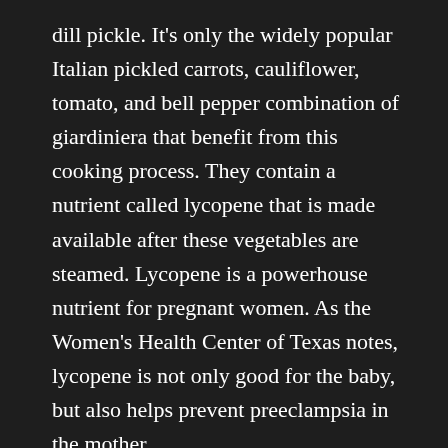dill pickle. It's only the widely popular Italian pickled carrots, cauliflower, tomato, and bell pepper combination of giardiniera that benefit from this cooking process. They contain a nutrient called lycopene that is made available after these vegetables are steamed. Lycopene is a powerhouse nutrient for pregnant women. As the Women's Health Center of Texas notes, lycopene is not only good for the baby, but also helps prevent preeclampsia in the mother.
Here's the rub, though. You have to take into account how much salt your pickles contain, and shy away from high salt varieties, because that would negate the possible blood pressure related benefits, and potentially have the opposite of the intended effect, are pickles good for you during pregnancy to Healthline. The one surprising health benefit of pickles during pregnancy only applies if you're